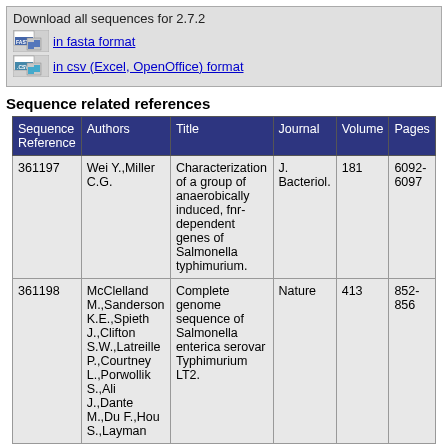Download all sequences for 2.7.2
in fasta format
in csv (Excel, OpenOffice) format
Sequence related references
| Sequence Reference | Authors | Title | Journal | Volume | Pages |
| --- | --- | --- | --- | --- | --- |
| 361197 | Wei Y.,Miller C.G. | Characterization of a group of anaerobically induced, fnr-dependent genes of Salmonella typhimurium. | J. Bacteriol. | 181 | 6092-6097 |
| 361198 | McClelland M.,Sanderson K.E.,Spieth J.,Clifton S.W.,Latreille P.,Courtney L.,Porwollik S.,Ali J.,Dante M.,Du F.,Hou S.,Layman | Complete genome sequence of Salmonella enterica serovar Typhimurium LT2. | Nature | 413 | 852-856 |